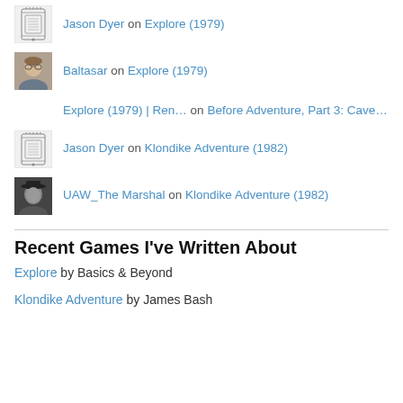Jason Dyer on Explore (1979)
Baltasar on Explore (1979)
Explore (1979) | Ren… on Before Adventure, Part 3: Cave…
Jason Dyer on Klondike Adventure (1982)
UAW_The Marshal on Klondike Adventure (1982)
Recent Games I've Written About
Explore by Basics & Beyond
Klondike Adventure by James Bash